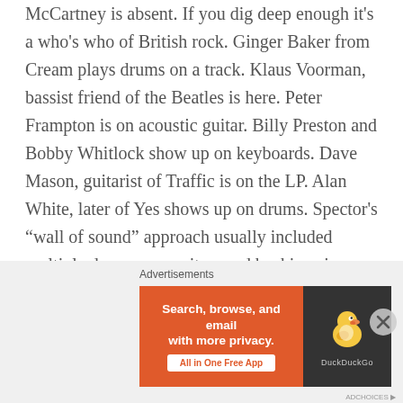McCartney is absent. If you dig deep enough it's a who's who of British rock. Ginger Baker from Cream plays drums on a track. Klaus Voorman, bassist friend of the Beatles is here. Peter Frampton is on acoustic guitar. Billy Preston and Bobby Whitlock show up on keyboards. Dave Mason, guitarist of Traffic is on the LP. Alan White, later of Yes shows up on drums. Spector's "wall of sound" approach usually included multiple drummers, guitars and backing singers on all songs. One could imagine him saying, "More guitars and drums and you two in the back, pick up those tubas and play something... horns, more horns." The sound is all encompassing and powerful. It's really incredible.
[Figure (screenshot): DuckDuckGo advertisement banner: orange left section with text 'Search, browse, and email with more privacy. All in One Free App' and white button, dark right section with DuckDuckGo duck logo.]